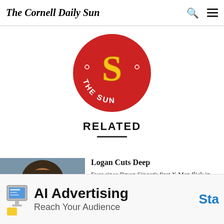The Cornell Daily Sun
[Figure (logo): The Cornell Daily Sun circular logo — red circle with gold 'S' and 'THE SUN' text in white]
RELATED
[Figure (photo): Photo of Hugh Jackman as Logan/Wolverine, bearded man looking intensely forward]
Logan Cuts Deep
Ever since Bryan Singer's first X Men flick in 2000, the ubiquitous desire of hardcore comic book fans everywhere was for a solo Wolverine film, and for one that captured the character's dark personality, brutal fighting style and vulgar lingo, which many felt could not be done within the confines of a PG-13 rating. The character is
[Figure (infographic): AI Advertising banner ad — 'AI Advertising / Reach Your Audience' with monitor illustration and 'Sta' (Start) CTA button in blue]